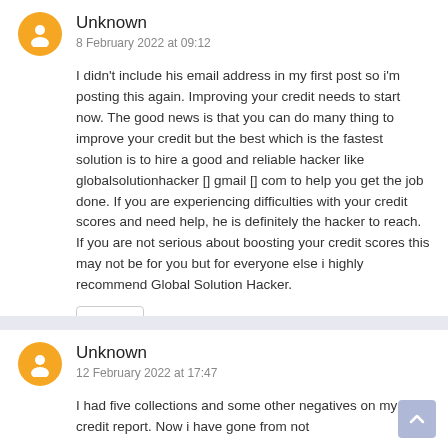Unknown
8 February 2022 at 09:12
I didn't include his email address in my first post so i'm posting this again. Improving your credit needs to start now. The good news is that you can do many thing to improve your credit but the best which is the fastest solution is to hire a good and reliable hacker like globalsolutionhacker [] gmail [] com to help you get the job done. If you are experiencing difficulties with your credit scores and need help, he is definitely the hacker to reach. If you are not serious about boosting your credit scores this may not be for you but for everyone else i highly recommend Global Solution Hacker.
Delete
Unknown
12 February 2022 at 17:47
I had five collections and some other negatives on my credit report. Now i have gone from not